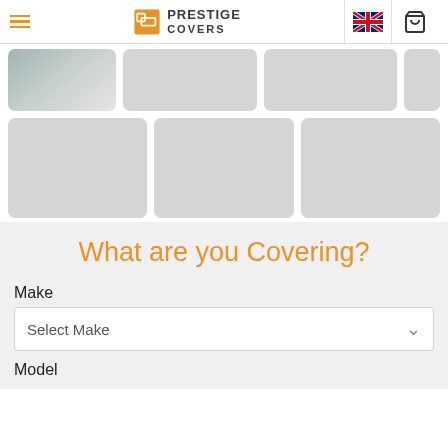Prestige Covers
[Figure (photo): Grid of product/category thumbnail images, mostly grey placeholders with one showing a car cover image]
What are you Covering?
Make
Select Make
Model